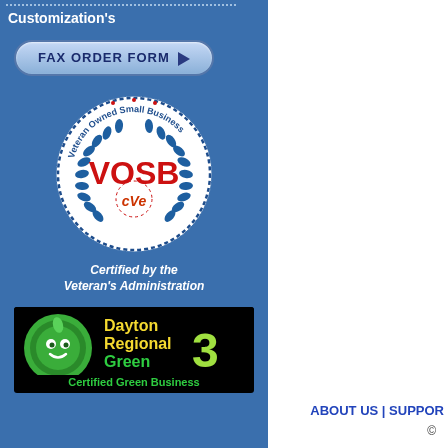Customization's
[Figure (other): FAX ORDER FORM button with right-pointing arrow, blue pill-shaped button]
[Figure (logo): VOSB - Veteran Owned Small Business seal/logo with laurel wreath and cVe mark, certified by the Veteran's Administration]
Certified by the Veteran's Administration
[Figure (logo): Dayton Regional Green 3 - Certified Green Business badge/logo, black background with green circular icon and yellow-green number 3]
ABOUT US | SUPPORT
©